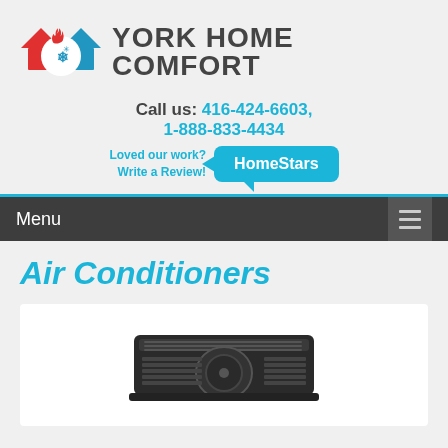[Figure (logo): York Home Comfort logo with red house/flame and blue house/snowflake icons merged in a circle]
YORK HOME COMFORT
Call us: 416-424-6603, 1-888-833-4434
Loved our work? Write a Review! HomeStars
Menu
Air Conditioners
[Figure (photo): Air conditioner unit (outdoor condenser unit), dark colored, viewed from above-front angle]